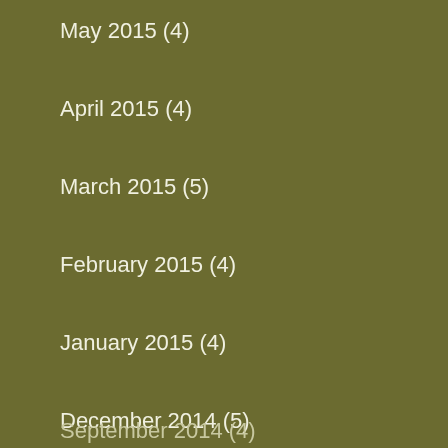May 2015 (4)
April 2015 (4)
March 2015 (5)
February 2015 (4)
January 2015 (4)
December 2014 (5)
November 2014 (4)
October 2014 (5)
September 2014 (4)